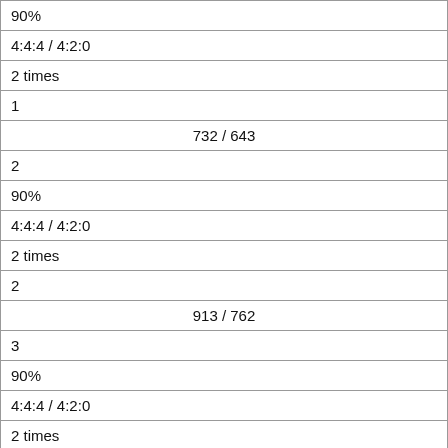| 90% |
| 4:4:4 / 4:2:0 |
| 2 times |
| 1 |
| 732 / 643 |
| 2 |
| 90% |
| 4:4:4 / 4:2:0 |
| 2 times |
| 2 |
| 913 / 762 |
| 3 |
| 90% |
| 4:4:4 / 4:2:0 |
| 2 times |